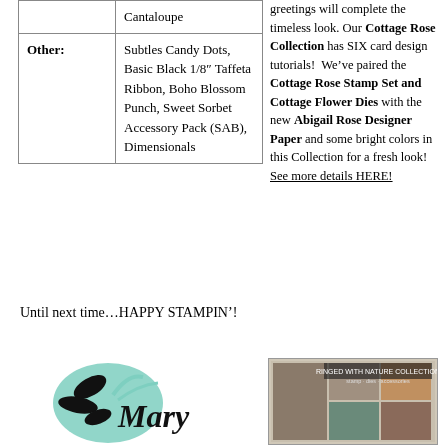|  | Cantaloupe |
| Other: | Subtles Candy Dots, Basic Black 1/8″ Taffeta Ribbon, Boho Blossom Punch, Sweet Sorbet Accessory Pack (SAB), Dimensionals |
Until next time…HAPPY STAMPIN'!
[Figure (illustration): Decorative signature logo with teal/mint flower and black leaf design with cursive 'Mary' text]
greetings will complete the timeless look. Our Cottage Rose Collection has SIX card design tutorials! We've paired the Cottage Rose Stamp Set and Cottage Flower Dies with the new Abigail Rose Designer Paper and some bright colors in this Collection for a fresh look! See more details HERE!
[Figure (photo): Ringed with Nature Collection promotional image thumbnail]